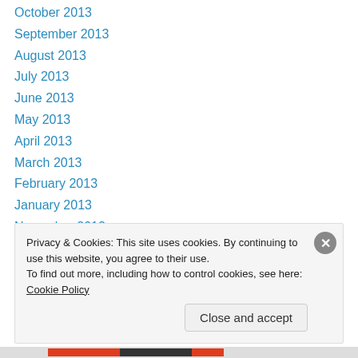October 2013
September 2013
August 2013
July 2013
June 2013
May 2013
April 2013
March 2013
February 2013
January 2013
November 2012
Privacy & Cookies: This site uses cookies. By continuing to use this website, you agree to their use. To find out more, including how to control cookies, see here: Cookie Policy
Close and accept